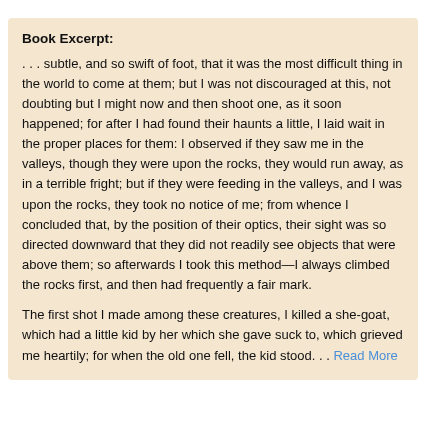Book Excerpt:
. . . subtle, and so swift of foot, that it was the most difficult thing in the world to come at them; but I was not discouraged at this, not doubting but I might now and then shoot one, as it soon happened; for after I had found their haunts a little, I laid wait in the proper places for them: I observed if they saw me in the valleys, though they were upon the rocks, they would run away, as in a terrible fright; but if they were feeding in the valleys, and I was upon the rocks, they took no notice of me; from whence I concluded that, by the position of their optics, their sight was so directed downward that they did not readily see objects that were above them; so afterwards I took this method—I always climbed the rocks first, and then had frequently a fair mark.
The first shot I made among these creatures, I killed a she-goat, which had a little kid by her which she gave suck to, which grieved me heartily; for when the old one fell, the kid stood. . . Read More